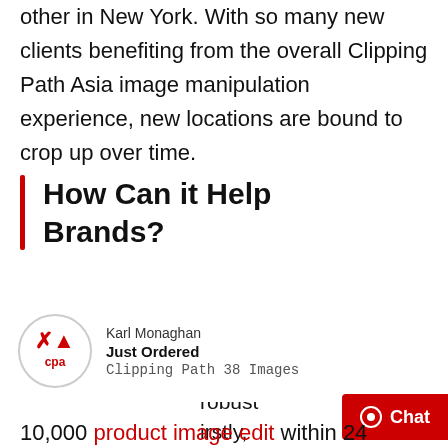other in New York. With so many new clients benefiting from the overall Clipping Path Asia image manipulation experience, new locations are bound to crop up over time.
How Can it Help Brands?
The company has the kind of setup
[Figure (other): Notification popup showing Karl Monaghan Just Ordered Clipping Path 38 Images with CPA logo]
10,000 product image edit within 24